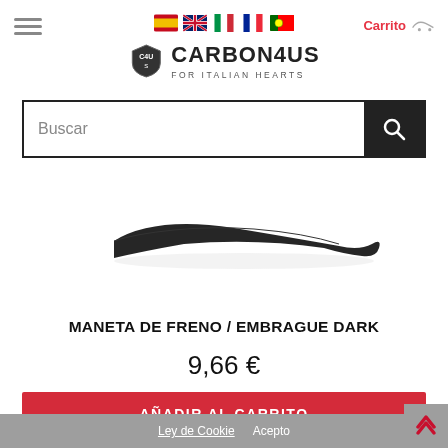[Figure (logo): Carbon4us logo with shield emblem and text 'CARBON4US FOR ITALIAN HEARTS', plus navigation flags (Spain, UK, Italy, France, Portugal), hamburger menu, and Carrito link]
[Figure (screenshot): Search bar with 'Buscar' placeholder and black search button with magnifying glass icon]
[Figure (photo): Dark carbon fiber motorcycle brake/clutch lever (Maneta de Freno / Embrague Dark) on white background]
MANETA DE FRENO / EMBRAGUE DARK
9,66 €
AÑADIR AL CARRITO
Ley de Cookie   Acepto